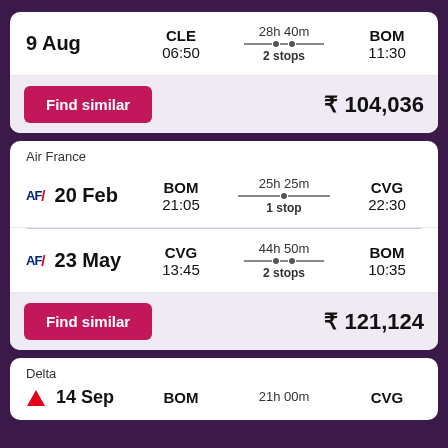9 Aug | CLE 06:50 | 28h 40m 2 stops | BOM 11:30
Find similar  ₹ 104,036
Air France
AF/ 20 Feb | BOM 21:05 | 25h 25m 1 stop | CVG 22:30
AF/ 23 May | CVG 13:45 | 44h 50m 2 stops | BOM 10:35
Find similar  ₹ 121,124
Delta
14 Sep | BOM | 21h 00m | CVG